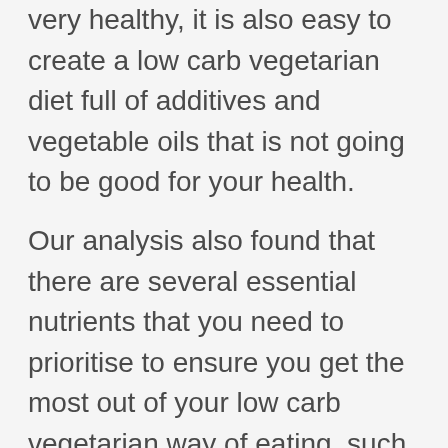very healthy, it is also easy to create a low carb vegetarian diet full of additives and vegetable oils that is not going to be good for your health.
Our analysis also found that there are several essential nutrients that you need to prioritise to ensure you get the most out of your low carb vegetarian way of eating, such as vitamin D, omega 3, selenium, niacin, thiamine and bioavailable protein.